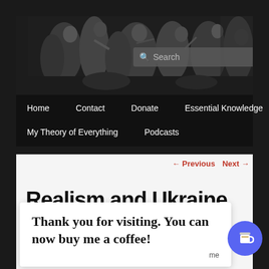[Figure (photo): Black and white classical painting/illustration showing robed figures in a group scene, used as website header image]
Search
Home   Contact   Donate   Essential Knowledge   My Theory of Everything   Podcasts
← Previous   Next →
Realism and Ukraine
Thank you for visiting. You can now buy me a coffee!
me
theme in the post today, but from a slightly different